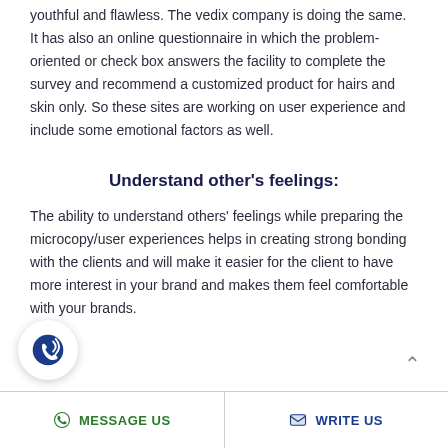youthful and flawless. The vedix company is doing the same. It has also an online questionnaire in which the problem-oriented or check box answers the facility to complete the survey and recommend a customized product for hairs and skin only. So these sites are working on user experience and include some emotional factors as well.
Understand other's feelings:
The ability to understand others' feelings while preparing the microcopy/user experiences helps in creating strong bonding with the clients and will make it easier for the client to have more interest in your brand and makes them feel comfortable with your brands.
MESSAGE US   WRITE US